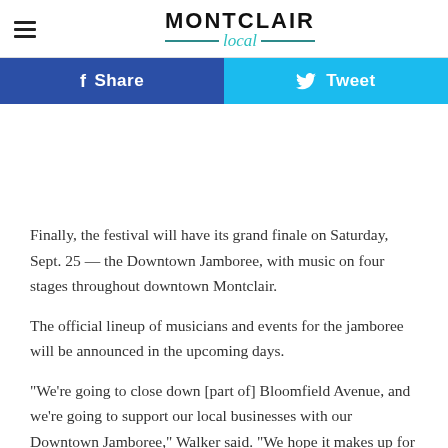MONTCLAIR Local
[Figure (other): Facebook Share button and Twitter Tweet button side by side]
Finally, the festival will have its grand finale on Saturday, Sept. 25 — the Downtown Jamboree, with music on four stages throughout downtown Montclair.
The official lineup of musicians and events for the jamboree will be announced in the upcoming days.
“We’re going to close down [part of] Bloomfield Avenue, and we’re going to support our local businesses with our Downtown Jamboree,” Walker said. “We hope it makes up for